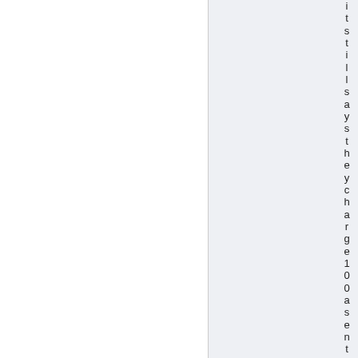it still says they charge 100 as entry; i
[Figure (other): Two-column page layout: left white column, right light grey column with vertical text reading character by character down the right edge: 'it still says they charge 100 as entry; i']